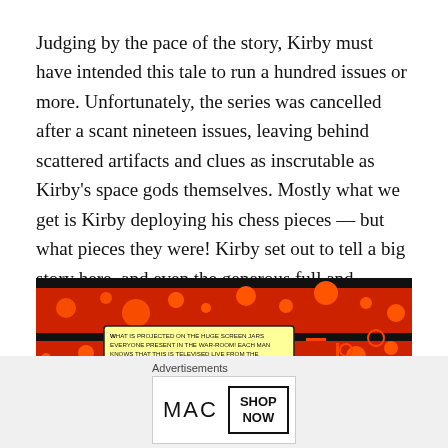Judging by the pace of the story, Kirby must have intended this tale to run a hundred issues or more. Unfortunately, the series was cancelled after a scant nineteen issues, leaving behind scattered artifacts and clues as inscrutable as Kirby's space gods themselves. Mostly what we get is Kirby deploying his chess pieces — but what pieces they were! Kirby set out to tell a big story here, and even the generous full and double-page panels he uses in this series aren't big enough to contain his vision.
[Figure (illustration): Comic book panel with orange and black abstract space background with circles and geometric shapes. A yellow speech bubble reads: 'WHAT IS PROJECTED ON THE HUGE SCREEN JARS EVERYONE PRESENT IN THE WAR-ROOM! EACH MAN KNOWS THAT THIS IS TELEVISED LIVE FROM THE FIELD! HE SEES NEZZAR OF THE FOURTH HOST AS HE TRULY STANDS!--2000 FEET OF MYSTERY!--MOUNTAINOUS!--MAN-LIKE!--EXPLOSIVE TO THE SENSES!! A close X button appears at lower right.']
Advertisements
[Figure (photo): MAC cosmetics advertisement showing lipsticks in purple, pink, and red. MAC logo and 'SHOP NOW' text in a box.]